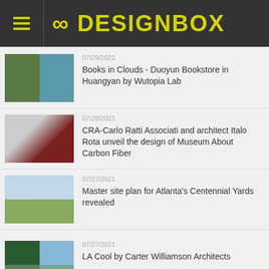8 DESIGNBOX
07/29/2021 - Books in Clouds - Duoyun Bookstore in Huangyan by Wutopia Lab
07/28/2021 - CRA-Carlo Ratti Associati and architect Italo Rota unveil the design of Museum About Carbon Fiber
07/27/2021 - Master site plan for Atlanta's Centennial Yards revealed
07/27/2021 - LA Cool by Carter Williamson Architects
07/26/2021